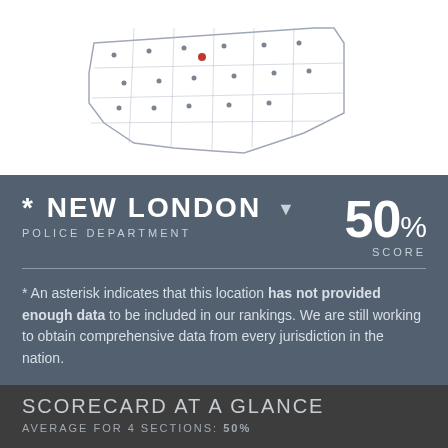[Figure (map): Map of Nebraska with county outlines, dots indicating police departments, and a highlighted red dot for New London location.]
* NEW LONDON POLICE DEPARTMENT — 50% SCORE
* An asterisk indicates that this location has not provided enough data to be included in our rankings. We are still working to obtain comprehensive data from every jurisdiction in the nation.
SCORECARD AT A GLANCE
AVERAGE FOR 4 SECTIONS: 50%